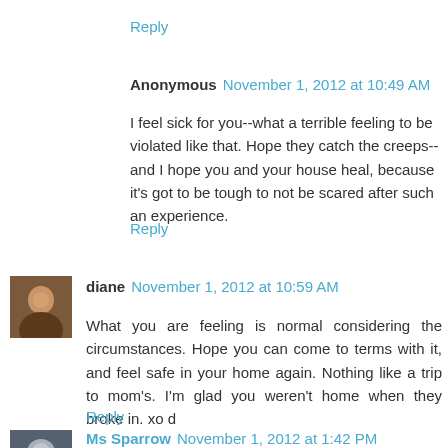Reply
Anonymous November 1, 2012 at 10:49 AM
I feel sick for you--what a terrible feeling to be violated like that. Hope they catch the creeps--and I hope you and your house heal, because it's got to be tough to not be scared after such an experience.
Reply
diane November 1, 2012 at 10:59 AM
What you are feeling is normal considering the circumstances. Hope you can come to terms with it, and feel safe in your home again. Nothing like a trip to mom's. I'm glad you weren't home when they broke in. xo d
Reply
Ms Sparrow November 1, 2012 at 1:42 PM